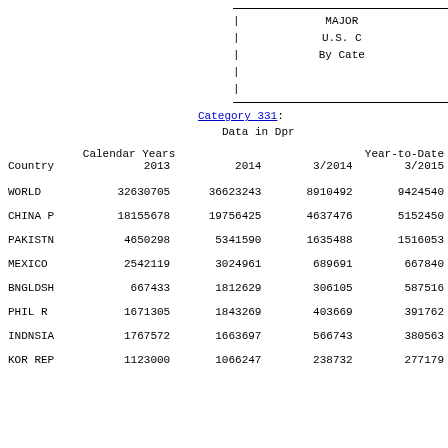| Country | Calendar Years 2013 | Calendar Years 2014 | Year-to-Date 3/2014 | Year-to-Date 3/2015 |
| --- | --- | --- | --- | --- |
| WORLD | 32630705 | 36623243 | 8910492 | 9424540 |
| CHINA P | 18155678 | 19756425 | 4637476 | 5152450 |
| PAKISTN | 4650298 | 5341590 | 1635488 | 1516053 |
| MEXICO | 2542119 | 3024961 | 689691 | 667840 |
| BNGLDSH | 667433 | 1812629 | 306105 | 587516 |
| PHIL R | 1671305 | 1843269 | 403669 | 391762 |
| INDNSIA | 1767572 | 1663697 | 566743 | 380563 |
| KOR REP | 1123000 | 1066247 | 238732 | 277179 |